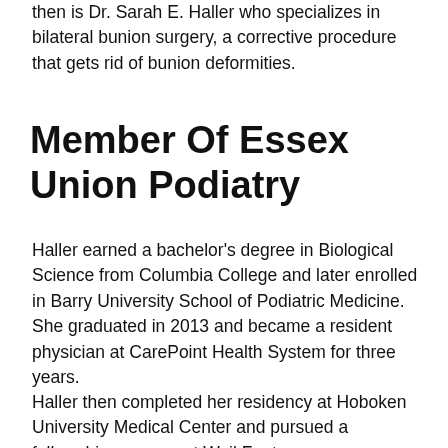then is Dr. Sarah E. Haller who specializes in bilateral bunion surgery, a corrective procedure that gets rid of bunion deformities.
Member Of Essex Union Podiatry
Haller earned a bachelor's degree in Biological Science from Columbia College and later enrolled in Barry University School of Podiatric Medicine. She graduated in 2013 and became a resident physician at CarePoint Health System for three years.
Haller then completed her residency at Hoboken University Medical Center and pursued a fellowship program at Weil Foot